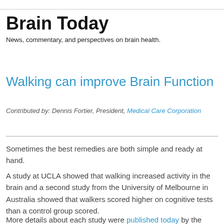Brain Today
News, commentary, and perspectives on brain health.
Walking can improve Brain Function
Contributed by: Dennis Fortier, President, Medical Care Corporation
Sometimes the best remedies are both simple and ready at hand.
A study at UCLA showed that walking increased activity in the brain and a second study from the University of Melbourne in Australia showed that walkers scored higher on cognitive tests than a control group scored.
More details about each study were published today by the